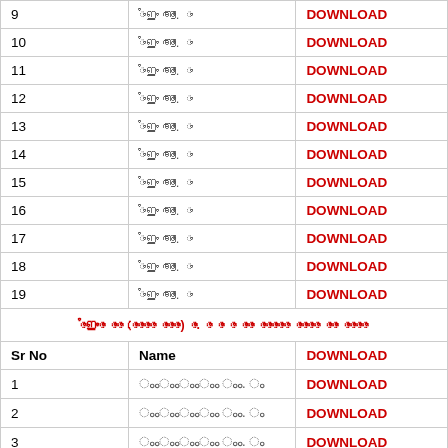| Sr No | Name | DOWNLOAD |
| --- | --- | --- |
| 9 | □□□□ □□. □ | DOWNLOAD |
| 10 | □□□□ □□. □ | DOWNLOAD |
| 11 | □□□□ □□. □ | DOWNLOAD |
| 12 | □□□□ □□. □ | DOWNLOAD |
| 13 | □□□□ □□. □ | DOWNLOAD |
| 14 | □□□□ □□. □ | DOWNLOAD |
| 15 | □□□□ □□. □ | DOWNLOAD |
| 16 | □□□□ □□. □ | DOWNLOAD |
| 17 | □□□□ □□. □ | DOWNLOAD |
| 18 | □□□□ □□. □ | DOWNLOAD |
| 19 | □□□□ □□. □ | DOWNLOAD |
| [section header] | □□□□□□□ □□□ (□□□□□□□ □□□□□□) □□. □ □□ □ □□□□ □□□□□□□□□ □□□□□□□ □□□□ □□□□□□□ |  |
| Sr No | Name | DOWNLOAD |
| 1 | □□□□□□□□ □□. □ | DOWNLOAD |
| 2 | □□□□□□□□ □□. □ | DOWNLOAD |
| 3 | □□□□□□□□ □□. □ | DOWNLOAD |
| 4 | □□□□□□□□ □□. □ | DOWNLOAD |
| 5 | □□□□□□□□ □□. □ | DOWNLOAD |